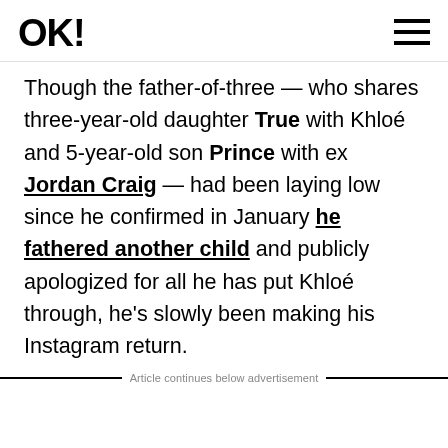OK!
Though the father-of-three — who shares three-year-old daughter True with Khloé and 5-year-old son Prince with ex Jordan Craig — had been laying low since he confirmed in January he fathered another child and publicly apologized for all he has put Khloé through, he's slowly been making his Instagram return.
Article continues below advertisement